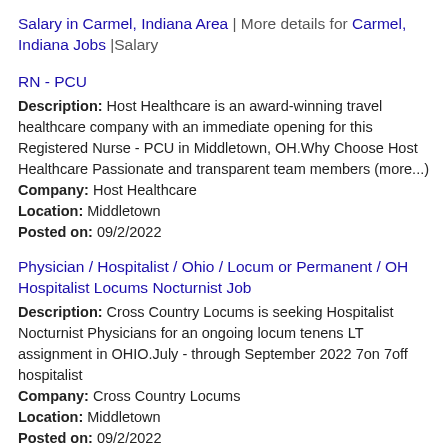Salary in Carmel, Indiana Area | More details for Carmel, Indiana Jobs |Salary
RN - PCU
Description: Host Healthcare is an award-winning travel healthcare company with an immediate opening for this Registered Nurse - PCU in Middletown, OH.Why Choose Host Healthcare Passionate and transparent team members (more...) Company: Host Healthcare Location: Middletown Posted on: 09/2/2022
Physician / Hospitalist / Ohio / Locum or Permanent / OH Hospitalist Locums Nocturnist Job
Description: Cross Country Locums is seeking Hospitalist Nocturnist Physicians for an ongoing locum tenens LT assignment in OHIO.July - through September 2022 7on 7off hospitalist Company: Cross Country Locums Location: Middletown Posted on: 09/2/2022
Travel Nurse RN - CVICU - $3,110 per week
Description: Host Healthcare is seeking a travel nurse RN CVICU